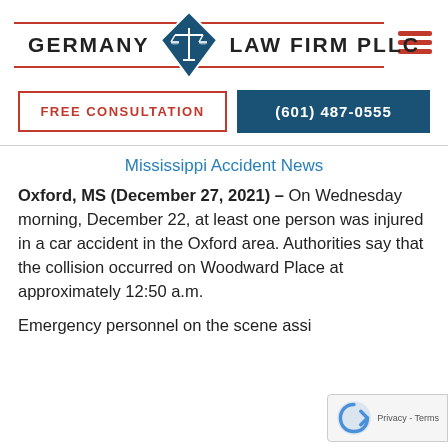[Figure (logo): Germany Law Firm PLLC logo with scales of justice diamond shape, red horizontal lines, and hamburger menu icon]
FREE CONSULTATION
(601) 487-0555
Mississippi Accident News
Oxford, MS (December 27, 2021) – On Wednesday morning, December 22, at least one person was injured in a car accident in the Oxford area. Authorities say that the collision occurred on Woodward Place at approximately 12:50 a.m.
Emergency personnel on the scene assi...